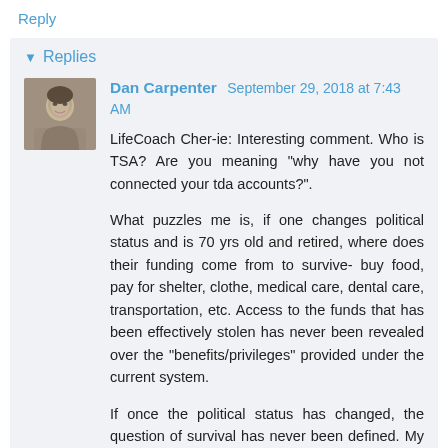Reply
▾ Replies
Dan Carpenter September 29, 2018 at 7:43 AM
LifeCoach Cher-ie: Interesting comment. Who is TSA? Are you meaning "why have you not connected your tda accounts?".
What puzzles me is, if one changes political status and is 70 yrs old and retired, where does their funding come from to survive- buy food, pay for shelter, clothe, medical care, dental care, transportation, etc. Access to the funds that has been effectively stolen has never been revealed over the "benefits/privileges" provided under the current system.
If once the political status has changed, the question of survival has never been defined. My thinking is that if as Anna says waking people up enough to change their political status is the main